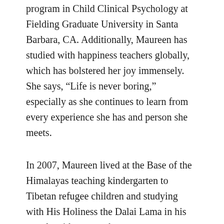program in Child Clinical Psychology at Fielding Graduate University in Santa Barbara, CA. Additionally, Maureen has studied with happiness teachers globally, which has bolstered her joy immensely. She says, “Life is never boring,” especially as she continues to learn from every experience she has and person she meets.
In 2007, Maureen lived at the Base of the Himalayas teaching kindergarten to Tibetan refugee children and studying with His Holiness the Dalai Lama in his temple with many others.
Maureen’s new book: The Emotionally Healthy Child